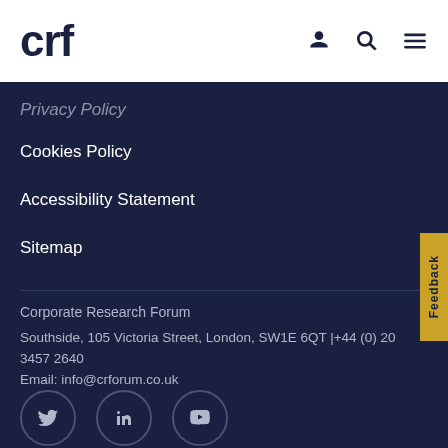crf
Privacy Policy (partial)
Cookies Policy
Accessibility Statement
Sitemap
Corporate Research Forum
Southside, 105 Victoria Street, London, SW1E 6QT |+44 (0) 20 3457 2640
Email: info@crforum.co.uk
[Figure (illustration): Three social media icon circles: Twitter (bird icon), LinkedIn (in icon), YouTube (play button icon)]
[Figure (other): Feedback button tab on the right side, gold/yellow background with vertical text reading Feedback]